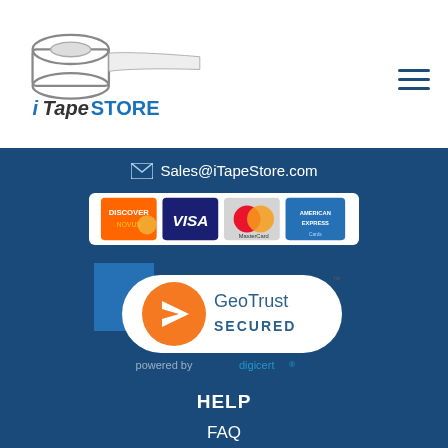[Figure (logo): iTapeStore logo with tape roll icon and blue stylized text]
Sales@iTapeStore.com
[Figure (illustration): Credit card logos strip: Discover Novus, Visa, MasterCard, American Express]
[Figure (logo): GeoTrust Secured badge powered by digicert]
HELP
FAQ
Shipping & Return Policy
Terms & Conditions